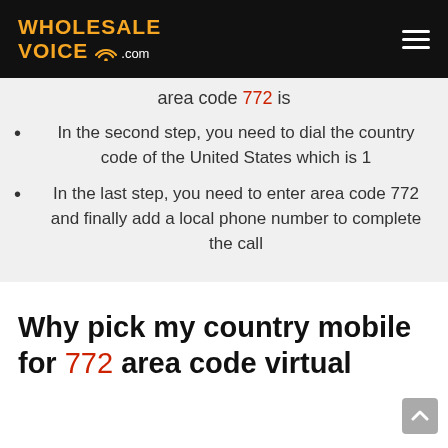WHOLESALE VOICE .com
area code 772 is
In the second step, you need to dial the country code of the United States which is 1
In the last step, you need to enter area code 772 and finally add a local phone number to complete the call
Why pick my country mobile for 772 area code virtual